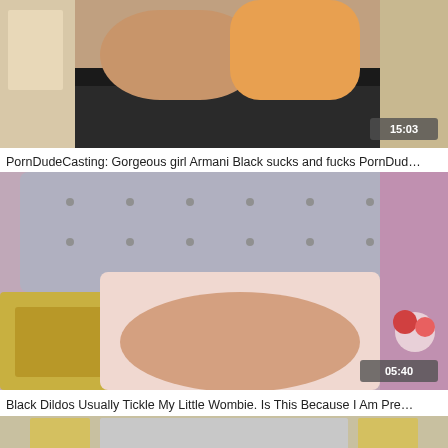[Figure (photo): Video thumbnail showing two women, one in orange, indoor setting with couch and wall art. Duration badge: 15:03]
PornDudeCasting: Gorgeous girl Armani Black sucks and fucks PornDud…
[Figure (photo): Video thumbnail showing a woman on a bed with tufted silver headboard and pink/gold decor. Duration badge: 05:40]
Black Dildos Usually Tickle My Little Wombie. Is This Because I Am Pre…
[Figure (photo): Partial video thumbnail at bottom of page, showing decorative background.]